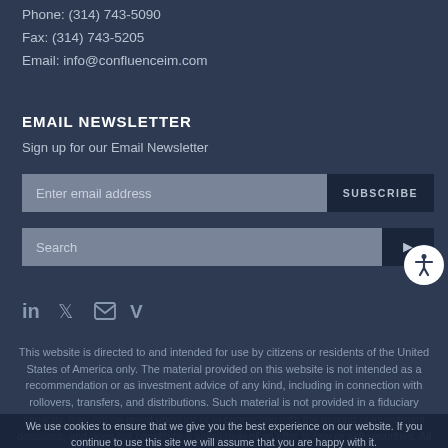Phone: (314) 743-5090
Fax: (314) 743-5205
Email: info@confluenceim.com
EMAIL NEWSLETTER
Sign up for our Email Newsletter
[Figure (screenshot): Email subscribe input bar with 'Enter email address' placeholder and a dark 'SUBSCRIBE' button on the right]
[Figure (screenshot): Search input bar with 'Search' placeholder and a dark arrow button on the right]
[Figure (screenshot): Accessibility icon – white circle with person icon]
[Figure (screenshot): Social media icons: LinkedIn, Twitter, Email, Vimeo]
This website is directed to and intended for use by citizens or residents of the United States of America only. The material provided on this website is not intended as a recommendation or as investment advice of any kind, including in connection with rollovers, transfers, and distributions. Such material is not provided in a fiduciary capacity, may not be relied upon for or in connection with the making of investment decisions, and does not constitute a solicitation of an offer to buy or sell securities. All content has been provided for informational or educational purposes only and is not intended to be and should not be construed as legal or tax advice and/or a legal opinion. Always consult a
We use cookies to ensure that we give you the best experience on our website. If you continue to use this site we will assume that you are happy with it.